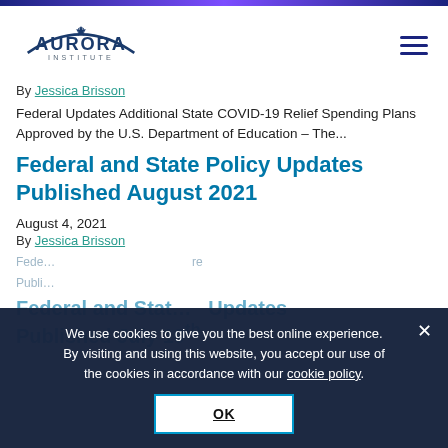[Figure (logo): Aurora Institute logo with stylized arc and compass star above the word AURORA, with INSTITUTE below]
By Jessica Brisson
Federal Updates Additional State COVID-19 Relief Spending Plans Approved by the U.S. Department of Education – The...
Federal and State Policy Updates Published August 2021
August 4, 2021
By Jessica Brisson
Federal and State Policy Updates Published July 19th
We use cookies to give you the best online experience. By visiting and using this website, you accept our use of the cookies in accordance with our cookie policy.